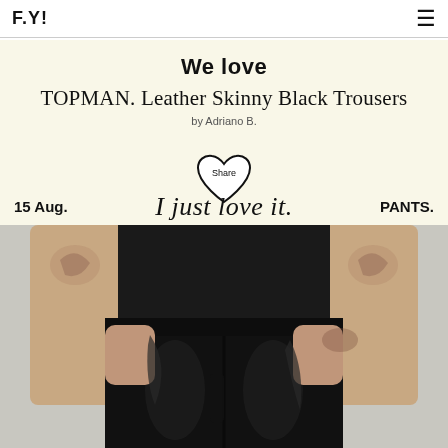F.Y!
We love
TOPMAN. Leather Skinny Black Trousers
by Adriano B.
[Figure (illustration): Heart-shaped share button with 'Share' text inside]
15 Aug.
PANTS.
I just love it.
[Figure (photo): Close-up photo of a tattooed man wearing black leather skinny trousers against a light grey background]